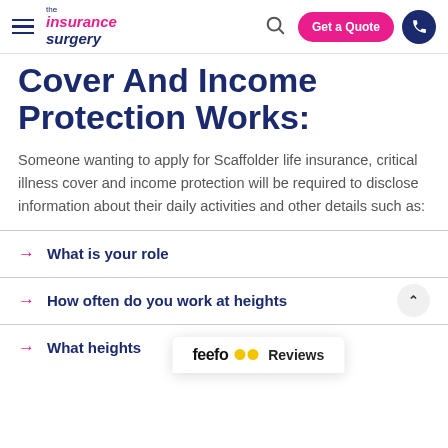the insurance surgery — Get a Quote
Cover And Income Protection Works:
Someone wanting to apply for Scaffolder life insurance, critical illness cover and income protection will be required to disclose information about their daily activities and other details such as:
What is your role
How often do you work at heights
What heights